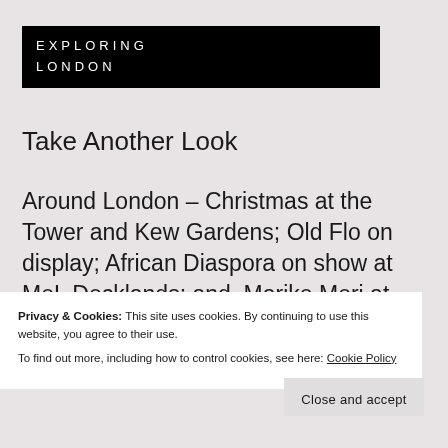EXPLORING LONDON
Take Another Look
Around London – Christmas at the Tower and Kew Gardens; Old Flo on display; African Diaspora on show at MoL Docklands; and, Mariko Mori at the Royal Academy
Privacy & Cookies: This site uses cookies. By continuing to use this website, you agree to their use.
To find out more, including how to control cookies, see here: Cookie Policy
Close and accept